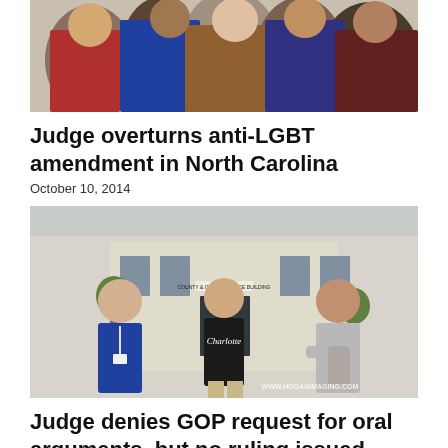[Figure (photo): Crowd of people at a public gathering or protest, partial view from behind]
Judge overturns anti-LGBT amendment in North Carolina
October 10, 2014
[Figure (photo): Three men standing and talking outside a County & Courts Office Building. The man on the left wears a blue suit with a lanyard, the middle man wears a black Charlotte t-shirt, and the man on the right wears a grey t-shirt with arms crossed. Watermark: WWW.HOGANIMAGING.COM]
Judge denies GOP request for oral arguments, but no ruling issued today
October 10, 2014